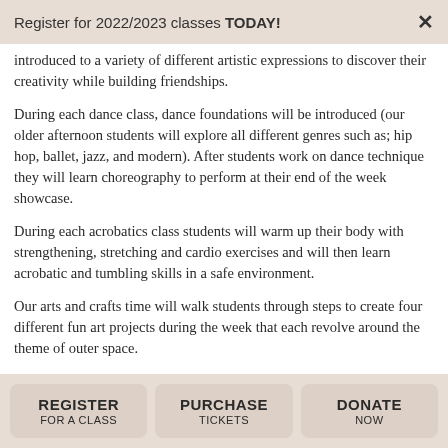Register for 2022/2023 classes TODAY!
introduced to a variety of different artistic expressions to discover their creativity while building friendships.
During each dance class, dance foundations will be introduced (our older afternoon students will explore all different genres such as; hip hop, ballet, jazz, and modern). After students work on dance technique they will learn choreography to perform at their end of the week showcase.
During each acrobatics class students will warm up their body with strengthening, stretching and cardio exercises and will then learn acrobatic and tumbling skills in a safe environment.
Our arts and crafts time will walk students through steps to create four different fun art projects during the week that each revolve around the theme of outer space.
To conclude our time together, all of the campers will
REGISTER FOR A CLASS | PURCHASE TICKETS | DONATE NOW